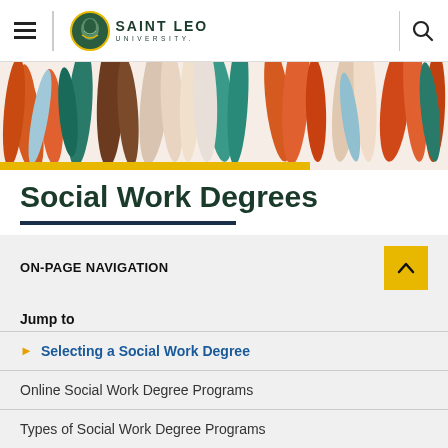Saint Leo University navigation bar with hamburger menu and search icon
[Figure (illustration): Hero banner with colorful raised hands in various skin tones and colors (orange, teal, brown, white, rust) against a white background, with a gold bar accent at the bottom left]
Social Work Degrees
ON-PAGE NAVIGATION
Jump to
Selecting a Social Work Degree
Online Social Work Degree Programs
Types of Social Work Degree Programs
Find a Job in a Growing Field with a Social Work Degree